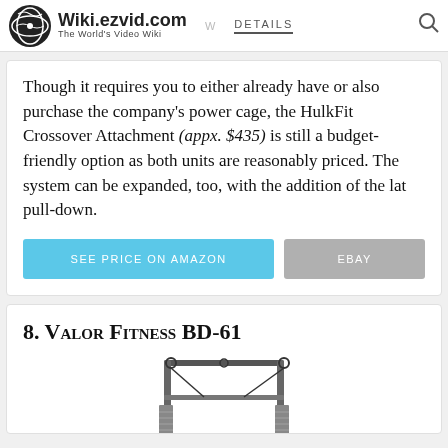Wiki.ezvid.com The World's Video Wiki | DETAILS
Though it requires you to either already have or also purchase the company's power cage, the HulkFit Crossover Attachment (appx. $435) is still a budget-friendly option as both units are reasonably priced. The system can be expanded, too, with the addition of the lat pull-down.
SEE PRICE ON AMAZON | EBAY
8. Valor Fitness BD-61
[Figure (photo): Partial image of the Valor Fitness BD-61 cable crossover machine, showing the top and pulley system of the equipment]